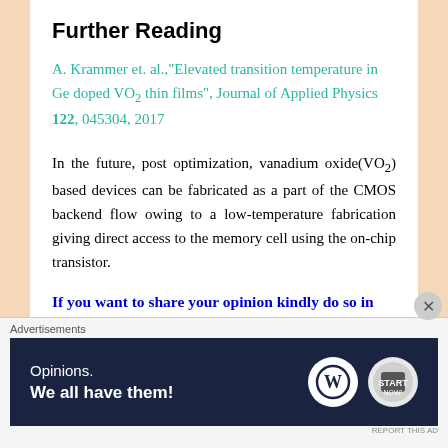Further Reading
A. Krammer et. al.,"Elevated transition temperature in Ge doped VO2 thin films", Journal of Applied Physics 122, 045304, 2017
In the future, post optimization, vanadium oxide(VO2) based devices can be fabricated as a part of the CMOS backend flow owing to a low-temperature fabrication giving direct access to the memory cell using the on-chip transistor.
If you want to share your opinion kindly do so in
Advertisements — Opinions. We all have them!